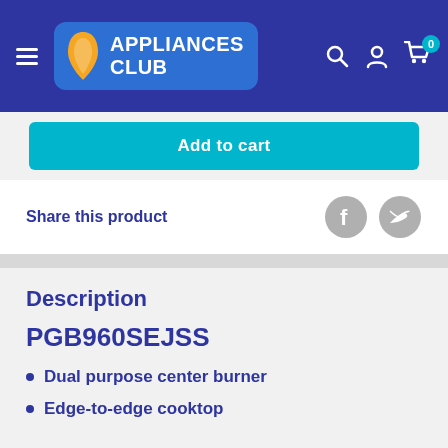Appliances Club
Add to cart
Share this product
Description
PGB960SEJSS
Dual purpose center burner
Edge-to-edge cooktop